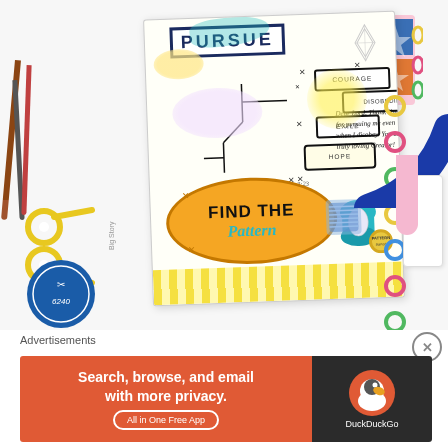[Figure (photo): Photograph of a colorful scrapbook/journal page spread showing a crafting/Bible journaling layout. The journal page features the word PURSUE at top, timeline boxes labeled COURAGE, DISOBEDIENCE, EXILE, HOPE, a handwritten note reading 'Dear Lord, Thank You for pursuing me even when I disobey. You are truly loving Creator!', a Genesis 3:23 reference, and a large 'FIND THE Pattern' oval graphic at bottom. Surrounding the journal are craft supplies including scissors, thread spools, colorful binder rings, quilt stickers, and decorative elements.]
Advertisements
[Figure (screenshot): DuckDuckGo advertisement banner with orange background on left reading 'Search, browse, and email with more privacy. All in One Free App' and dark background on right with DuckDuckGo duck logo and text 'DuckDuckGo']